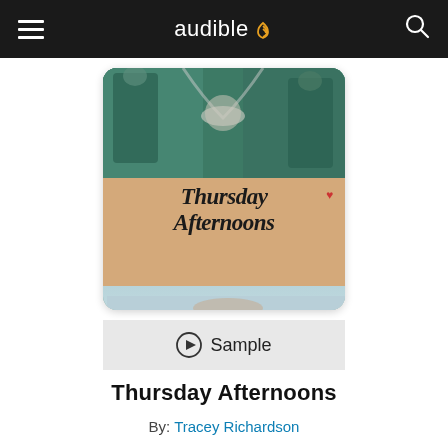audible
[Figure (illustration): Book cover for 'Thursday Afternoons' by Tracey Richardson, read by Abby Craden. Cover shows medical/surgical scene at top with figures in scrubs, a tan/kraft paper middle section with cursive title text, and a bottom section showing a person lying down. Stethoscope heart graphic visible.]
▶ Sample
Thursday Afternoons
By: Tracey Richardson